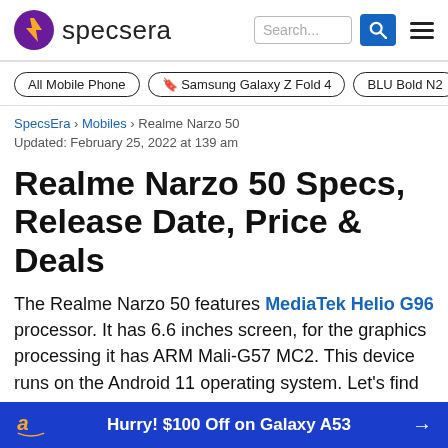specsera | Search... [search icon] [menu icon]
All Mobile Phone
🔖 Samsung Galaxy Z Fold 4
BLU Bold N2
SpecsEra > Mobiles > Realme Narzo 50
Updated: February 25, 2022 at 139 am
Realme Narzo 50 Specs, Release Date, Price & Deals
The Realme Narzo 50 features MediaTek Helio G96 processor. It has 6.6 inches screen, for the graphics processing it has ARM Mali-G57 MC2. This device runs on the Android 11 operating system. Let's find out the full specs and characteristics of the Realme Narzo 50
Hurry! $100 Off on Galaxy A53